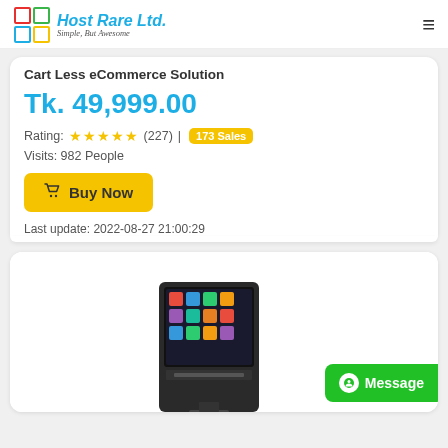Host Rare Ltd. Simple, But Awesome
Cart Less eCommerce Solution
Tk. 49,999.00
Rating: ★★★★★ (227) | 173 Sales
Visits: 982 People
Buy Now
Last update: 2022-08-27 21:00:29
[Figure (photo): POS terminal device with touchscreen showing app icons]